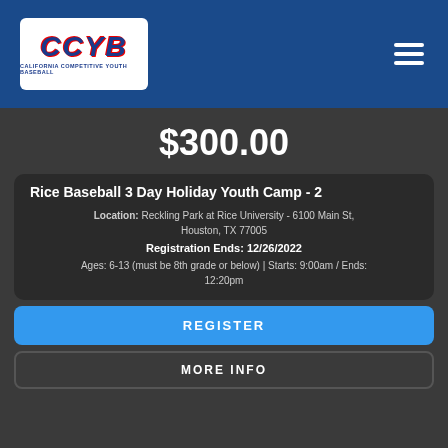[Figure (logo): CCYB California Competitive Youth Baseball logo with cartoon baseball player]
$300.00
Rice Baseball 3 Day Holiday Youth Camp - 2
Location: Reckling Park at Rice University - 6100 Main St, Houston, TX 77005
Registration Ends: 12/26/2022
Ages: 6-13 (must be 8th grade or below) | Starts: 9:00am / Ends: 12:20pm
REGISTER
MORE INFO